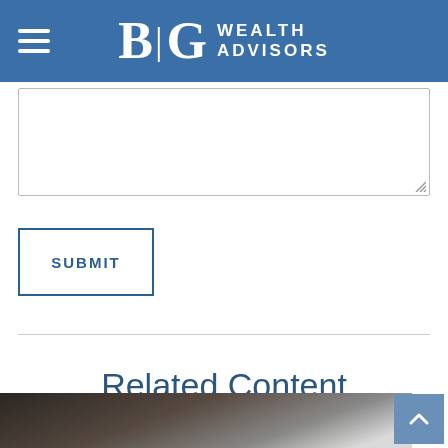BG WEALTH ADVISORS
[Figure (screenshot): Text area input box with resize handle in bottom right corner]
[Figure (screenshot): SUBMIT button with blue border and blue uppercase text]
Related Content
[Figure (photo): Bottom photo strip showing a hand holding a smartphone or tablet, dark blurred background]